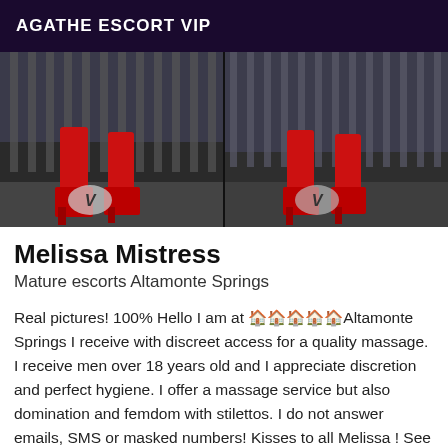AGATHE ESCORT VIP
[Figure (photo): Two side-by-side photos showing red high-heeled boots near a metal fence, each with a 'V' watermark overlay]
Melissa Mistress
Mature escorts Altamonte Springs
Real pictures! 100% Hello I am at 🏠🏠🏠🏠🏠Altamonte Springs I receive with discreet access for a quality massage. I receive men over 18 years old and I appreciate discretion and perfect hygiene. I offer a massage service but also domination and femdom with stilettos. I do not answer emails, SMS or masked numbers! Kisses to all Melissa ! See you soon my darlings
[Figure (photo): Partial photo at the bottom showing a person with short hair, cropped]